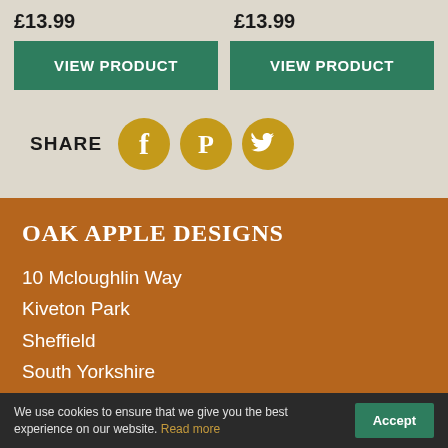£13.99    £13.99
VIEW PRODUCT
VIEW PRODUCT
[Figure (infographic): SHARE icons row with Facebook, Pinterest, and Twitter circular golden buttons]
OAK APPLE DESIGNS
10 Mcloughlin Way
Kiveton Park
Sheffield
South Yorkshire
S26 6QJ
United Kingdom
We use cookies to ensure that we give you the best experience on our website. Read more  Accept